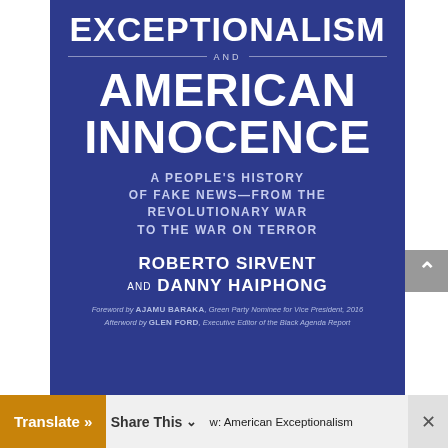[Figure (illustration): Book cover for 'American Exceptionalism and American Innocence: A People's History of Fake News—From the Revolutionary War to the War on Terror' by Roberto Sirvent and Danny Haiphong. Dark blue background with large white bold title text, subtitle in lighter blue, authors' names in white bold, and foreword/afterword credits in small italic text.]
Translate » w: American Exceptionalism ×